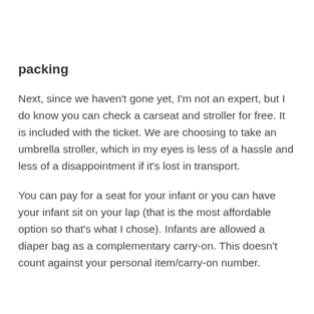packing
Next, since we haven't gone yet, I'm not an expert, but I do know you can check a carseat and stroller for free. It is included with the ticket. We are choosing to take an umbrella stroller, which in my eyes is less of a hassle and less of a disappointment if it's lost in transport.
You can pay for a seat for your infant or you can have your infant sit on your lap (that is the most affordable option so that's what I chose). Infants are allowed a diaper bag as a complementary carry-on. This doesn't count against your personal item/carry-on number.